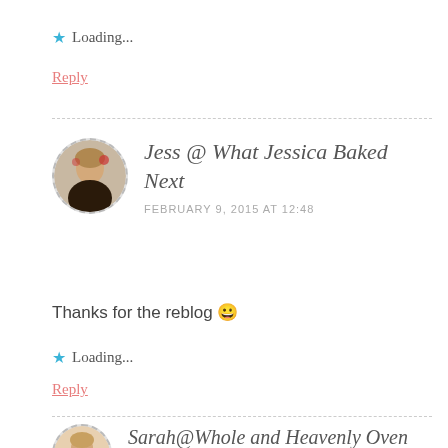★ Loading...
Reply
Jess @ What Jessica Baked Next
FEBRUARY 9, 2015 AT 12:48
Thanks for the reblog 😀
★ Loading...
Reply
Sarah@Whole and Heavenly Oven
FEBRUARY 9, 2015 AT 12:30